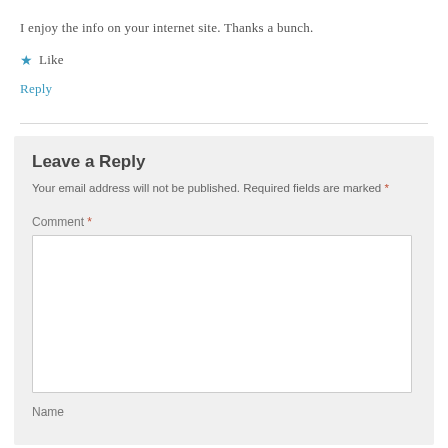I enjoy the info on your internet site. Thanks a bunch.
★ Like
Reply
Leave a Reply
Your email address will not be published. Required fields are marked *
Comment *
Name